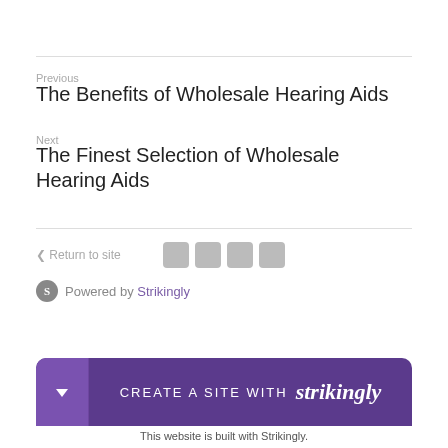Previous
The Benefits of Wholesale Hearing Aids
Next
The Finest Selection of Wholesale Hearing Aids
< Return to site
Powered by Strikingly
CREATE A SITE WITH strikingly
This website is built with Strikingly.